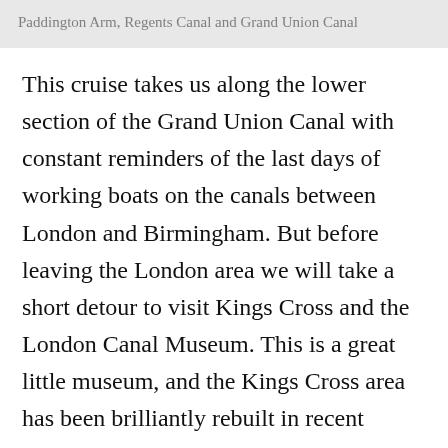Paddington Arm, Regents Canal and Grand Union Canal
This cruise takes us along the lower section of the Grand Union Canal with constant reminders of the last days of working boats on the canals between London and Birmingham. But before leaving the London area we will take a short detour to visit Kings Cross and the London Canal Museum. This is a great little museum, and the Kings Cross area has been brilliantly rebuilt in recent years; both are well worth spending a little time exploring. Returning to Little Venice via Camden and Regents park Zoo, we begin to leave London